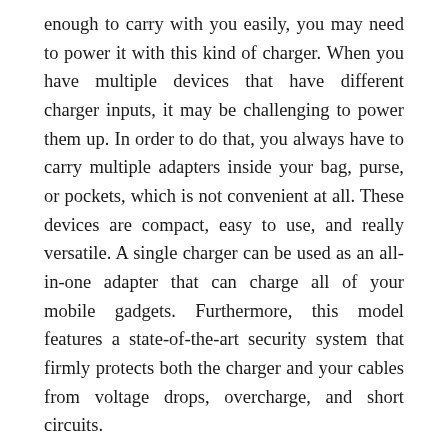enough to carry with you easily, you may need to power it with this kind of charger. When you have multiple devices that have different charger inputs, it may be challenging to power them up. In order to do that, you always have to carry multiple adapters inside your bag, purse, or pockets, which is not convenient at all. These devices are compact, easy to use, and really versatile. A single charger can be used as an all-in-one adapter that can charge all of your mobile gadgets. Furthermore, this model features a state-of-the-art security system that firmly protects both the charger and your cables from voltage drops, overcharge, and short circuits.
With the trend for battery technology to increase capacity year on year, an old timer charger would only partly charge the newer batteries. The output of a timer charger is terminated after a pre-determined time. Timer chargers were the most common type for high-capacity Ni-Cd cells in the late 1990s for example, then comes timer–...